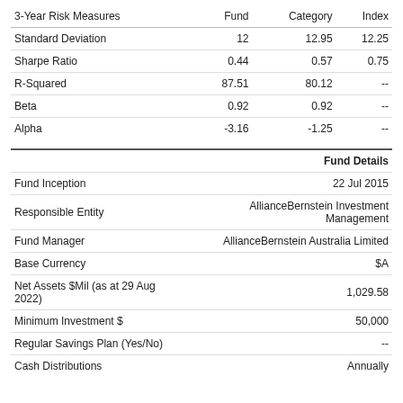| 3-Year Risk Measures | Fund | Category | Index |
| --- | --- | --- | --- |
| Standard Deviation | 12 | 12.95 | 12.25 |
| Sharpe Ratio | 0.44 | 0.57 | 0.75 |
| R-Squared | 87.51 | 80.12 | -- |
| Beta | 0.92 | 0.92 | -- |
| Alpha | -3.16 | -1.25 | -- |
| Fund Details |  |
| --- | --- |
| Fund Inception | 22 Jul 2015 |
| Responsible Entity | AllianceBernstein Investment Management |
| Fund Manager | AllianceBernstein Australia Limited |
| Base Currency | $A |
| Net Assets $Mil (as at 29 Aug 2022) | 1,029.58 |
| Minimum Investment $ | 50,000 |
| Regular Savings Plan (Yes/No) | -- |
| Cash Distributions | Annually |